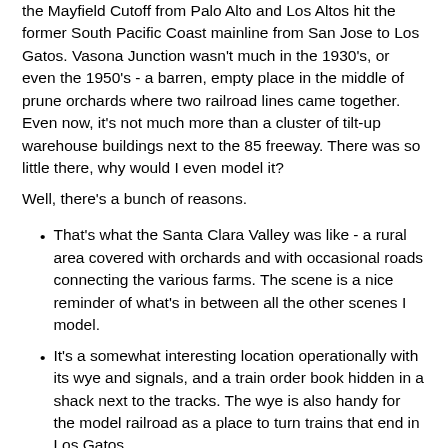the Mayfield Cutoff from Palo Alto and Los Altos hit the former South Pacific Coast mainline from San Jose to Los Gatos. Vasona Junction wasn't much in the 1930's, or even the 1950's - a barren, empty place in the middle of prune orchards where two railroad lines came together. Even now, it's not much more than a cluster of tilt-up warehouse buildings next to the 85 freeway. There was so little there, why would I even model it?
Well, there's a bunch of reasons.
That's what the Santa Clara Valley was like - a rural area covered with orchards and with occasional roads connecting the various farms. The scene is a nice reminder of what's in between all the other scenes I model.
It's a somewhat interesting location operationally with its wye and signals, and a train order book hidden in a shack next to the tracks. The wye is also handy for the model railroad as a place to turn trains that end in Los Gatos.